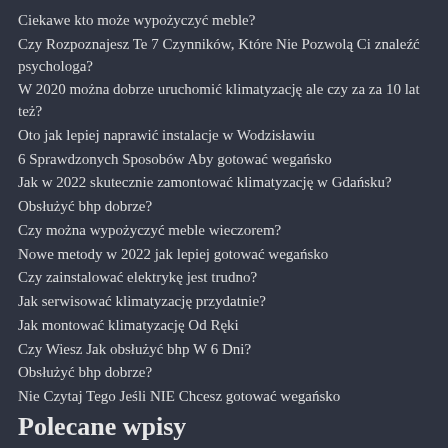Ciekawe kto może wypożyczyć meble?
Czy Rozpoznajesz Te 7 Czynników, Które Nie Pozwolą Ci znaleźć psychologa?
W 2020 można dobrze uruchomić klimatyzację ale czy za za 10 lat też?
Oto jak lepiej naprawić instalacje w Wodzisławiu
6 Sprawdzonych Sposobów Aby gotować wegańsko
Jak w 2022 skutecznie zamontować klimatyzację w Gdańsku?
Obsłużyć bhp dobrze?
Czy można wypożyczyć meble wieczorem?
Nowe metody w 2022 jak lepiej gotować wegańsko
Czy zainstalować elektrykę jest trudno?
Jak serwisować klimatyzację przydatnie?
Jak montować klimatyzację Od Ręki
Czy Wiesz Jak obsłużyć bhp W 6 Dni?
Obsłużyć bhp dobrze?
Nie Czytaj Tego Jeśli NIE Chcesz gotować wegańsko
Polecane wpisy